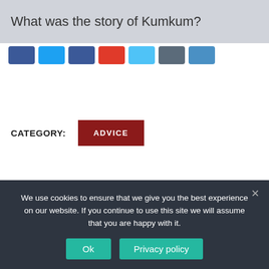What was the story of Kumkum?
[Figure (other): Row of social media share buttons: Facebook (blue), Twitter (light blue), another blue button, YouTube/Gmail (red-orange), LinkedIn (light blue), and two more blue/dark buttons]
CATEGORY:
ADVICE
← PREVIOUS ARTICLE
What do you mean by photopolymerization?
NEXT ARTICLE →
Who made the first bayonet in Germany?
We use cookies to ensure that we give you the best experience on our website. If you continue to use this site we will assume that you are happy with it.
Ok
Privacy policy